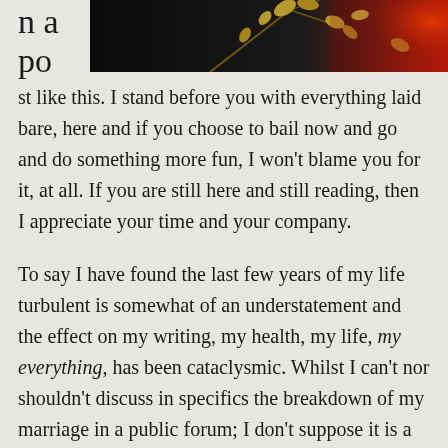[Figure (photo): A dark photograph showing golden/autumn leaves on branches against a black background on the left and a red-orange glowing background on the right.]
n a po st like this. I stand before you with everything laid bare, here and if you choose to bail now and go and do something more fun, I won't blame you for it, at all. If you are still here and still reading, then I appreciate your time and your company.

To say I have found the last few years of my life turbulent is somewhat of an understatement and the effect on my writing, my health, my life, my everything, has been cataclysmic. Whilst I can't nor shouldn't discuss in specifics the breakdown of my marriage in a public forum; I don't suppose it is a matter of public interest in any event, particularly in this saturated age